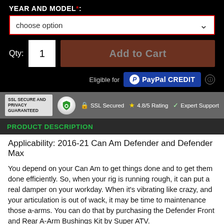YEAR AND MODEL*:
choose option
Qty: 1
Add to Cart
Eligible for PayPal CREDIT
[Figure (infographic): SSL secure and privacy guaranteed trust bar with SSL Secured, 4.8/5 Rating, and Expert Support badges]
PRODUCT DESCRIPTION
Applicability: 2016-21 Can Am Defender and Defender Max
You depend on your Can Am to get things done and to get them done efficiently. So, when your rig is running rough, it can put a real damper on your workday. When it's vibrating like crazy, and your articulation is out of wack, it may be time to maintenance those a-arms. You can do that by purchasing the Defender Front and Rear A-Arm Bushings Kit by Super ATV.